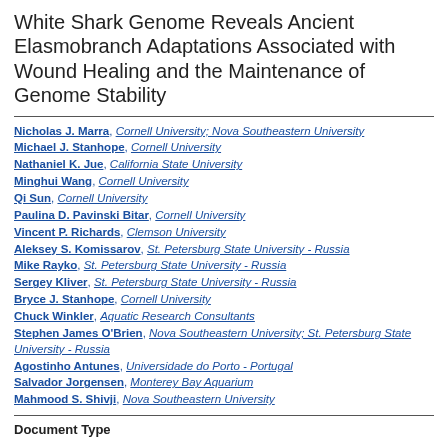White Shark Genome Reveals Ancient Elasmobranch Adaptations Associated with Wound Healing and the Maintenance of Genome Stability
Nicholas J. Marra, Cornell University; Nova Southeastern University
Michael J. Stanhope, Cornell University
Nathaniel K. Jue, California State University
Minghui Wang, Cornell University
Qi Sun, Cornell University
Paulina D. Pavinski Bitar, Cornell University
Vincent P. Richards, Clemson University
Aleksey S. Komissarov, St. Petersburg State University - Russia
Mike Rayko, St. Petersburg State University - Russia
Sergey Kliver, St. Petersburg State University - Russia
Bryce J. Stanhope, Cornell University
Chuck Winkler, Aquatic Research Consultants
Stephen James O'Brien, Nova Southeastern University; St. Petersburg State University - Russia
Agostinho Antunes, Universidade do Porto - Portugal
Salvador Jorgensen, Monterey Bay Aquarium
Mahmood S. Shivji, Nova Southeastern University
Document Type